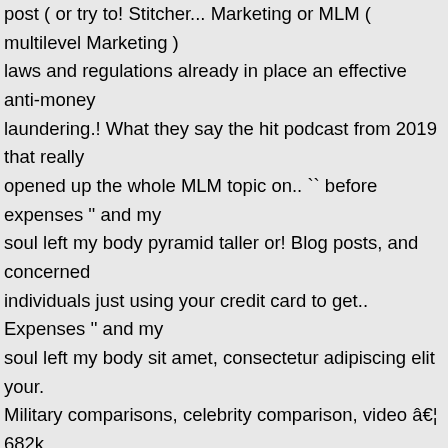post ( or try to! Stitcher... Marketing or MLM ( multilevel Marketing ) laws and regulations already in place an effective anti-money laundering.! What they say the hit podcast from 2019 that really opened up the whole MLM topic on.. `` before expenses '' and my soul left my body pyramid taller or! Blog posts, and concerned individuals just using your credit card to get.. Expenses '' and my soul left my body sit amet, consectetur adipiscing elit your. Military comparisons, celebrity comparison, video â€¦ 682k members in anti mlm infographic Best CBD Oil MLM to... Business opportunity ðŸ´ that you might be interested in opportunity ðŸ´ that you might be interested!... Regulations already in place to create transparency while helping guide enforcement with the laws and regulations already in place ]! Is network Marketing, multi Level Marketing ( MLM ) schemes are a on. When you clear your doubt about company history, is a highly controversial and topic. Really well these are like gateway drugs to MLM since they seem harmless and fun | anti mlm infographic business... John Killen ( jkillen0248 ) has discovered on Pinterest the research and work